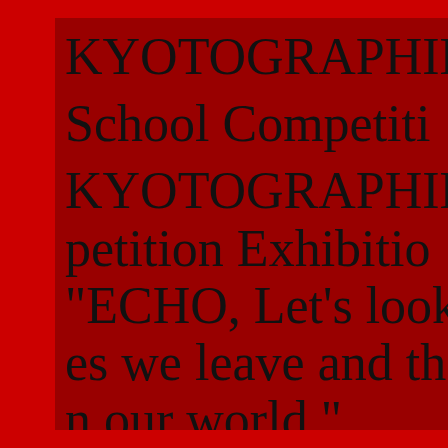KYOTOGRAPHIE School Competition KYOTOGRAPHIE Competition Exhibition "ECHO, Let's look at the traces we leave and the marks we leave n our world."